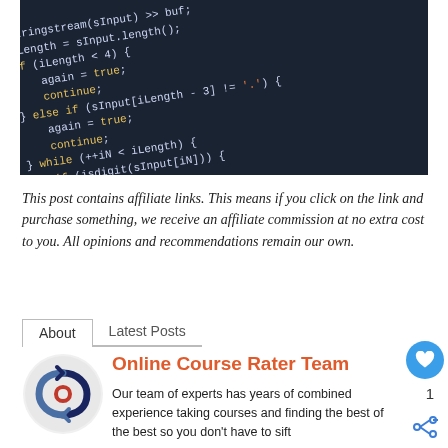[Figure (screenshot): Dark-themed code editor showing C++ code with syntax highlighting — yellow keywords, orange strings, white identifiers on dark blue-green background. Code includes system(), stringstream, iLength, if/else if/while statements with continue and isdigit calls.]
This post contains affiliate links. This means if you click on the link and purchase something, we receive an affiliate commission at no extra cost to you. All opinions and recommendations remain our own.
About   Latest Posts
Online Course Rater Team
[Figure (logo): Circular logo with a swirling arrow design in blue, dark blue, and red/orange on a white background]
Our team of experts has years of combined experience taking courses and finding the best of the best so you don't have to sift